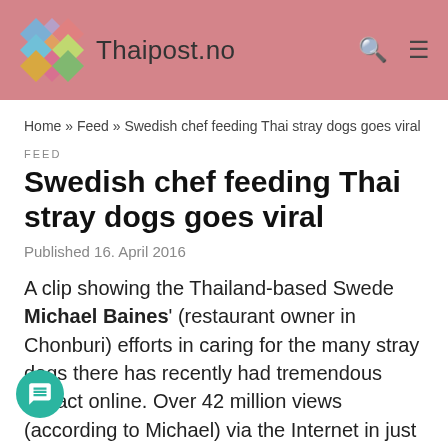Thaipost.no
Home » Feed » Swedish chef feeding Thai stray dogs goes viral
FEED
Swedish chef feeding Thai stray dogs goes viral
Published 16. April 2016
A clip showing the Thailand-based Swede Michael Baines' (restaurant owner in Chonburi) efforts in caring for the many stray dogs there has recently had tremendous impact online. Over 42 million views (according to Michael) via the Internet in just seven is the sensational result, as the clip showing his daily routine feeding over 80 stray dogs on Facebook